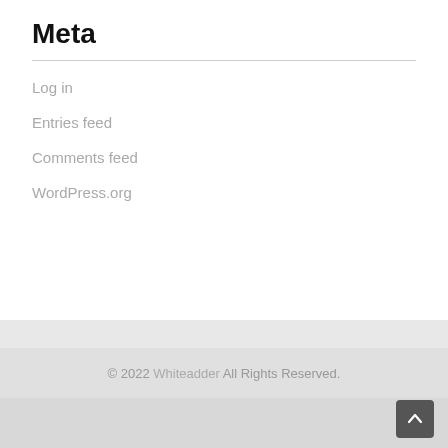Meta
Log in
Entries feed
Comments feed
WordPress.org
© 2022 Whiteadder All Rights Reserved.